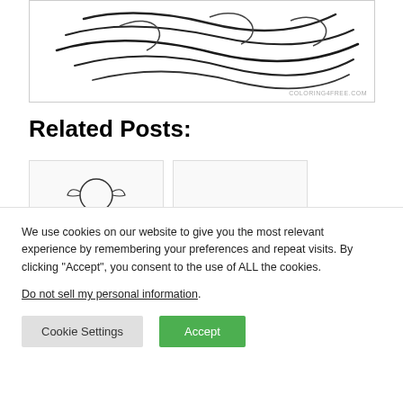[Figure (illustration): Coloring page showing wind/claw marks or scratches on white background, with COLORING4FREE.COM watermark]
Related Posts:
[Figure (illustration): Thumbnail of a Thor superhero coloring page outline drawing]
[Figure (illustration): Thumbnail of a small cartoon animal (possibly Pluto/dog) with sparkles coloring page]
We use cookies on our website to give you the most relevant experience by remembering your preferences and repeat visits. By clicking “Accept”, you consent to the use of ALL the cookies.
Do not sell my personal information.
Cookie Settings
Accept